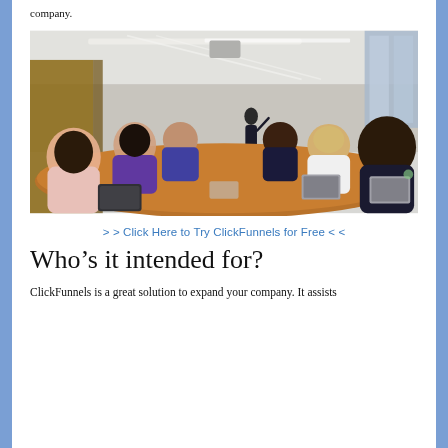company.
[Figure (photo): A business meeting in a modern conference room with people seated around a large wooden table, one person standing and presenting at the front of the room, large windows visible on the right.]
>> Click Here to Try ClickFunnels for Free <<
Who’s it intended for?
ClickFunnels is a great solution to expand your company. It assists